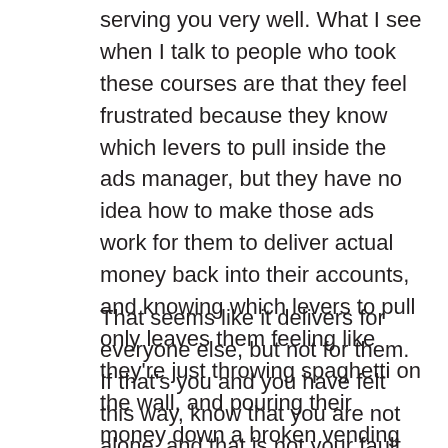serving you very well. What I see when I talk to people who took these courses are that they feel frustrated because they know which levers to pull inside the ads manager, but they have no idea how to make those ads work for them to deliver actual money back into their accounts, and knowing which levers to pull only leaves them feeling like they're just throwing spaghetti on the wall, and pouring their money down a broken vending machine.
That seems like it delivers for everyone else, but not for them. If that's you and you have felt this way, know that you are not alone, and that is not your fault that you haven't been able to connect the dots between ads and actually making money with ads. That's the first thing that's keeping you from making